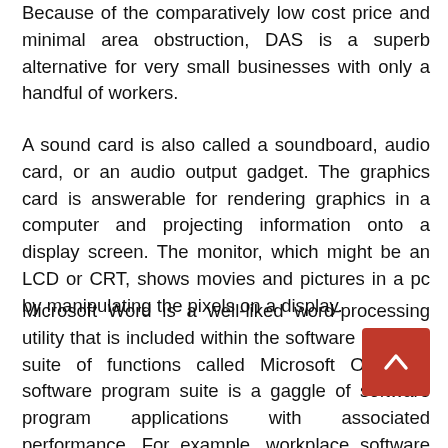Because of the comparatively low cost price and minimal area obstruction, DAS is a superb alternative for very small businesses with only a handful of workers.
A sound card is also called a soundboard, audio card, or an audio output gadget. The graphics card is answerable for rendering graphics in a computer and projecting information onto a display screen. The monitor, which might be an LCD or CRT, shows movies and pictures in a pc by manipulating the pixels on a display.
Microsoft Word is a well-liked word-processing utility that is included within the software program suite of functions called Microsoft Office. A software program suite is a gaggle of software program applications with associated performance. For example, workplace software program suites might embody word processing, spreadsheet, database, presentation, and email purposes. Graphics suites such as Adobe Creative Suite embody purposes for creating and editing images, whereas Sony Audio Master Suite is